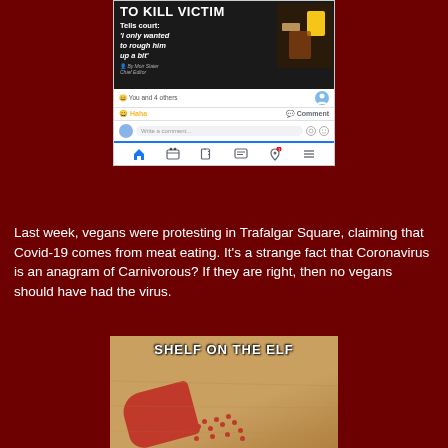[Figure (screenshot): Facebook screenshot showing a news headline about 'TO KILL VICTIM, Tells court: I only wanted to rough him up a bit', with a Haha reaction, Comment button, comment input box, and Facebook navigation bar]
Last week, vegans were protesting in Trafalgar Square, claiming that Covid-19 comes from meat eating. It’s a strange fact that Coronavirus is an anagram of Carnivorous? If they are right, then no vegans should have had the virus.
[Figure (photo): Meme image with text 'SHELF ON THE ELF' over a photo of a wooden surface with red cloth and red candy/beads]